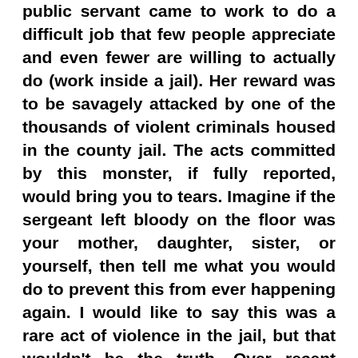public servant came to work to do a difficult job that few people appreciate and even fewer are willing to actually do (work inside a jail). Her reward was to be savagely attacked by one of the thousands of violent criminals housed in the county jail. The acts committed by this monster, if fully reported, would bring you to tears. Imagine if the sergeant left bloody on the floor was your mother, daughter, sister, or yourself, then tell me what you would do to prevent this from ever happening again. I would like to say this was a rare act of violence in the jail, but that wouldn't be the truth. Over recent years, there have been murders and numerous aggravated